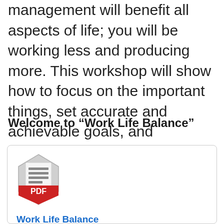management will benefit all aspects of life; you will be working less and producing more. This workshop will show how to focus on the important things, set accurate and achievable goals, and communicate better with your peers at work and your family at home.
Welcome to “Work Life Balance”
[Figure (illustration): PDF file icon — a grey pentagon/shield shape with a document icon on top and a red banner at the bottom reading 'PDF']
Work Life Balance Training Manual